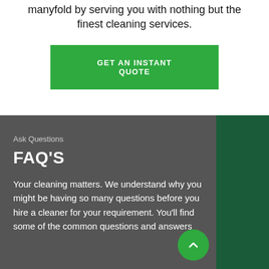manyfold by serving you with nothing but the finest cleaning services.
GET AN INSTANT QUOTE
Ask Questions
FAQ'S
Your cleaning matters. We understand why you might be having so many questions before you hire a cleaner for your requirement. You'll find some of the common questions and answers